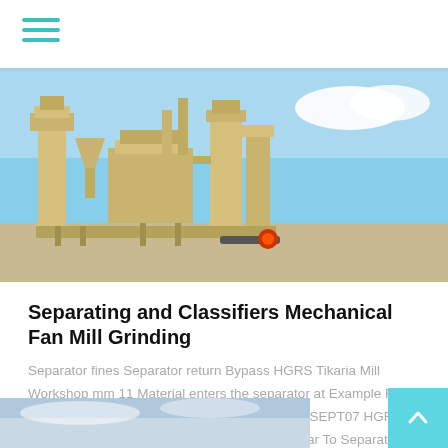[Figure (photo): Industrial grinding mill machinery with yellow/tan colored equipment including separators and classifiers, set against a blue sky background on arid terrain.]
Separating and Classifiers Mechanical Fan Mill Grinding
Separator fines Separator return Bypass HGRS Tikaria Mill Workshop mm 11 Material enters the separator at Example FLS OSepa Air outlet fines Feed Sealing the top 48 SEPT07 HGRS Tikaria Mill Workshop air Sec Documents Similar To Separating and Classifiers 29232584BallChargeDesign pdf Uploaded by
[Figure (photo): Partial view of another image, appearing to show a sky/industrial scene, cropped at bottom of page.]